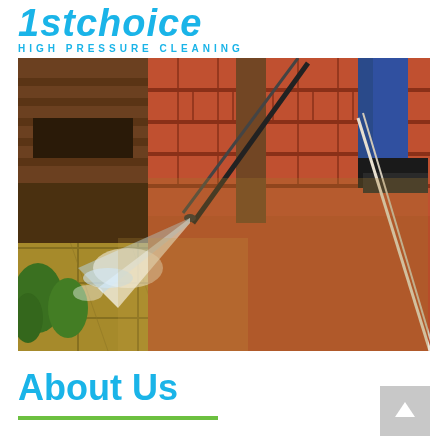1stchoice HIGH PRESSURE CLEANING
[Figure (photo): Person using a high-pressure water lance to clean red brick stairs and tan/golden outdoor tile flooring. Water spray visible, person wearing jeans and boots visible on right side.]
About Us